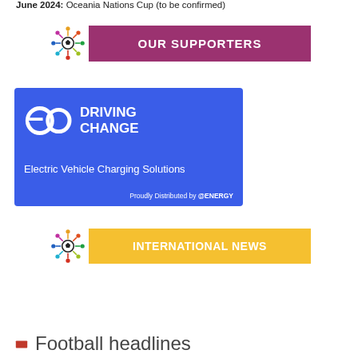June 2024: Oceania Nations Cup (to be confirmed)
[Figure (logo): OUR SUPPORTERS banner with colorful people/soccer logo and purple background text]
[Figure (logo): EO Charging - DRIVING CHANGE, Electric Vehicle Charging Solutions, Proudly Distributed by @ENERGY. Blue background banner.]
[Figure (logo): INTERNATIONAL NEWS banner with colorful people/soccer logo and yellow/gold background text]
Football headlines